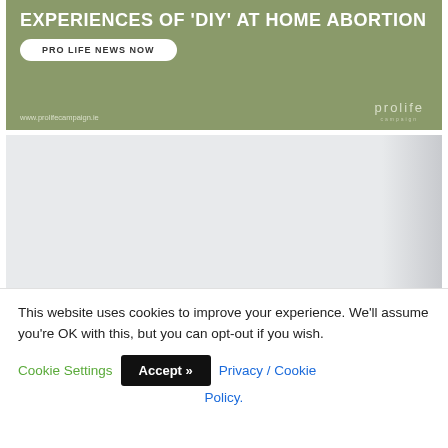[Figure (screenshot): Olive/green-toned advertisement banner for prolifecampaign.ie with bold white text reading 'EXPERIENCES OF DIY AT HOME ABORTION', a white pill-shaped button labeled 'PRO LIFE NEWS NOW', URL www.prolifecampaign.ie and prolife campaign logo.]
[Figure (photo): Light grey/white toned image, partially visible, with a vertical element on the right edge.]
This website uses cookies to improve your experience. We'll assume you're OK with this, but you can opt-out if you wish. Cookie Settings Accept >> Privacy / Cookie Policy.